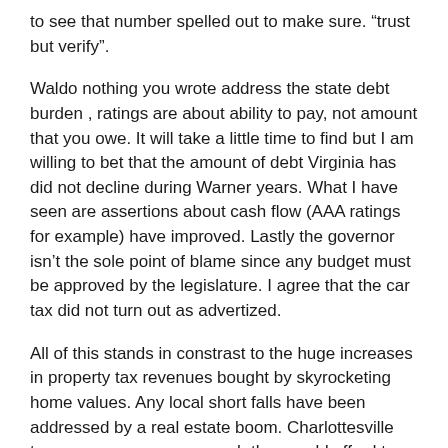to see that number spelled out to make sure. “trust but verify”.
Waldo nothing you wrote address the state debt burden , ratings are about ability to pay, not amount that you owe. It will take a little time to find but I am willing to bet that the amount of debt Virginia has did not decline during Warner years. What I have seen are assertions about cash flow (AAA ratings for example) have improved. Lastly the governor isn’t the sole point of blame since any budget must be approved by the legislature. I agree that the car tax did not turn out as advertized.
All of this stands in constrast to the huge increases in property tax revenues bought by skyrocketing home values. Any local short falls have been addressed by a real estate boom. Charlottesville tax revenue was up so much they could afford to reduce the tax rate.